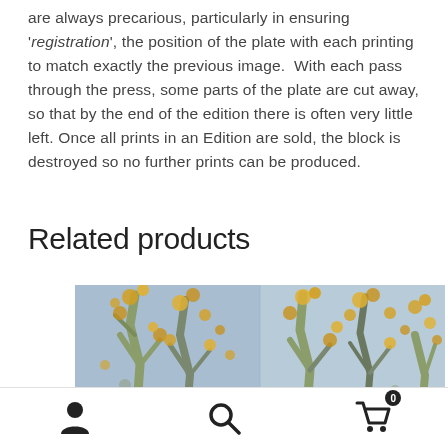are always precarious, particularly in ensuring 'registration', the position of the plate with each printing to match exactly the previous image.  With each pass through the press, some parts of the plate are cut away, so that by the end of the edition there is often very little left. Once all prints in an Edition are sold, the block is destroyed so no further prints can be produced.
Related products
[Figure (photo): A painting or artwork showing trees with yellow/orange blossoms against a blue-grey sky, displayed as a product image.]
User icon, Search icon, Cart icon with badge 0